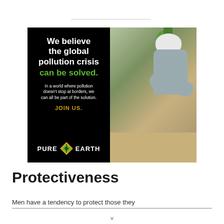[Figure (illustration): Pure Earth advertisement with black left panel containing text 'We believe the global pollution crisis can be solved. In a world where pollution doesn't stop at borders, we can all be part of the solution. JOIN US.' and the Pure Earth logo with diamond icon, and right panel showing a photo of a man in a hard hat planting a seedling.]
Protectiveness
Men have a tendency to protect those they...